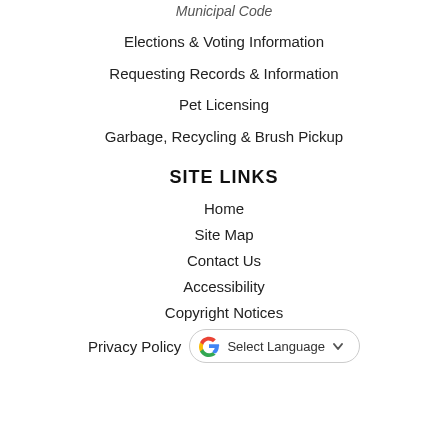Municipal Code
Elections & Voting Information
Requesting Records & Information
Pet Licensing
Garbage, Recycling & Brush Pickup
SITE LINKS
Home
Site Map
Contact Us
Accessibility
Copyright Notices
Privacy Policy